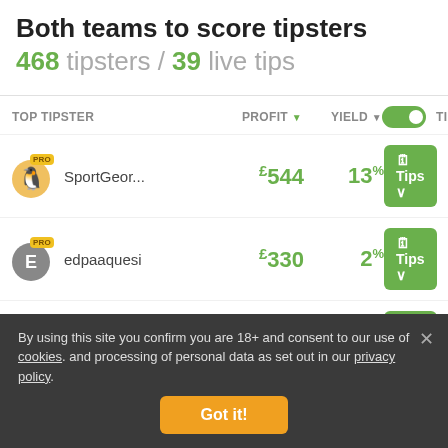Both teams to score tipsters
468 tipsters / 39 live tips
| TOP TIPSTER | PROFIT | YIELD | TIPS |
| --- | --- | --- | --- |
| SportGeor... | £544 | 13% | Tips |
| edpaaquesi | £330 | 2% | Tips |
| Dpd | £271 | 6% | Tips |
VIEW ALL >
Both teams to score & result tipsters
By using this site you confirm you are 18+ and consent to our use of cookies. and processing of personal data as set out in our privacy policy.
Got it!